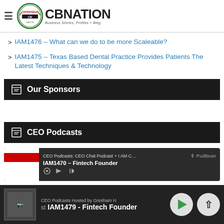CB Nation - Business Stories, Profiles + Blog
IAM1476 – What can we do to be more Scaleable?
IAM1475 – Texas Based Dental Practice Provides Patients The Latest Techniques & Technology
Our Sponsors
CEO Podcasts
[Figure (screenshot): Podcast embed player showing CEO Podcasts: CEO Chat Podcast + I AM CEO... with PodBean logo and IAM1470 - Fintech Founder episode]
CEO Podcasts Hosted by Gresham H | IAM1479 - Fintech Founder